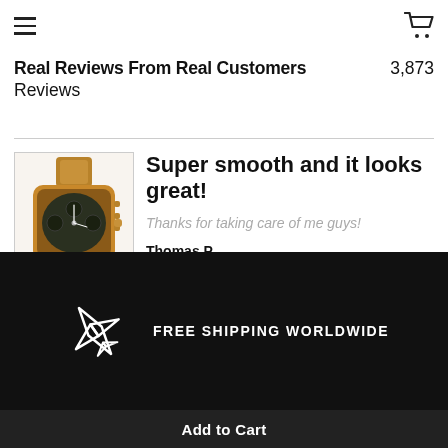☰  [cart icon]
Real Reviews From Real Customers  3,873 Reviews
[Figure (photo): Brown leather strap chronograph watch with dark dial and gold/bronze case. Label: Relay]
Super smooth and it looks great!
Thanks for taking care of me guys!
Thomas P
[Figure (infographic): White airplane icon on black background with text FREE SHIPPING WORLDWIDE]
Add to Cart